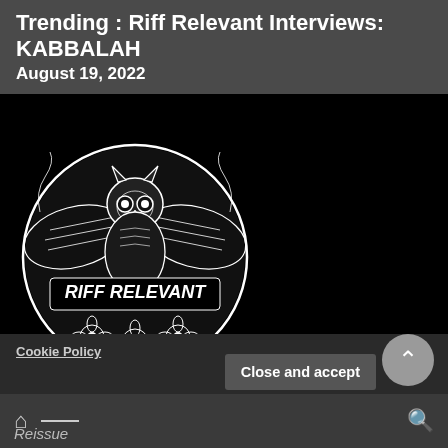Trending :  Riff Relevant Interviews: KABBALAH
August 19, 2022
[Figure (logo): Riff Relevant circular logo featuring an owl and flowers with decorative text reading 'RIFF RELEVANT' on black background]
RiffRelevant.com – Heavy Music News Features
Privacy & Cookies: This site uses cookies. By continuing to use
Cookie Policy
Close and accept
Reissue